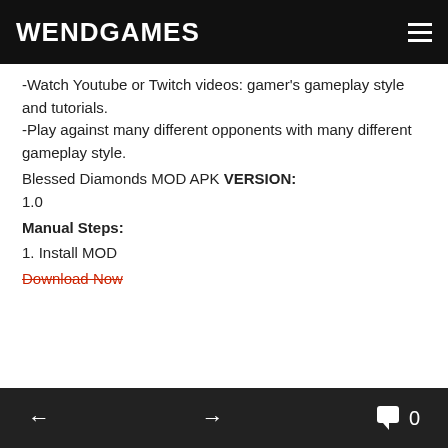WENDGAMES
-Watch Youtube or Twitch videos: gamer's gameplay style and tutorials.
-Play against many different opponents with many different gameplay style.
Blessed Diamonds MOD APK VERSION:
1.0
Manual Steps:
1. Install MOD
Download Now
← → 0